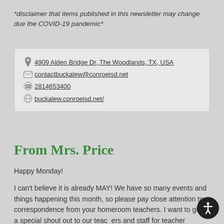*disclaimer that items published in this newsletter may change due the COVID-19 pandemic*
4909 Alden Bridge Dr, The Woodlands, TX, USA
contactbuckalew@conroeisd.net
2814653400
buckalew.conroeisd.net/
From Mrs. Price
Happy Monday!
I can't believe it is already MAY! We have so many events and things happening this month, so please pay close attention to correspondence from your homeroom teachers. I want to give a special shout out to our teachers and staff for teacher appreciation week this week! Our